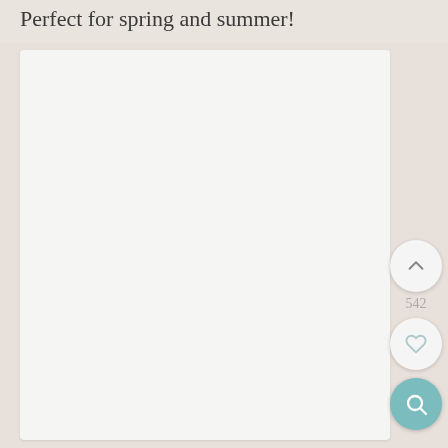Perfect for spring and summer!
[Figure (other): Large white/light gray image card area, mostly blank, representing a product or content image placeholder]
542